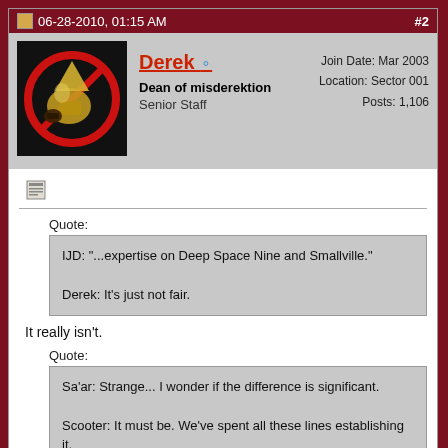06-28-2010, 01:15 AM  #2
Join Date: Mar 2003
Location: Sector 001
Posts: 1,106
Derek
Dean of misderektion
Senior Staff
[Figure (illustration): Forum user avatar showing a spacecraft/robot graphic with a red circular design on black background]
Quote:
IJD: "...expertise on Deep Space Nine and Smallville."

Derek: It's just not fair.
It really isn't.
Quote:
Sa'ar: Strange... I wonder if the difference is significant.

Scooter: It must be. We've spent all these lines establishing it.